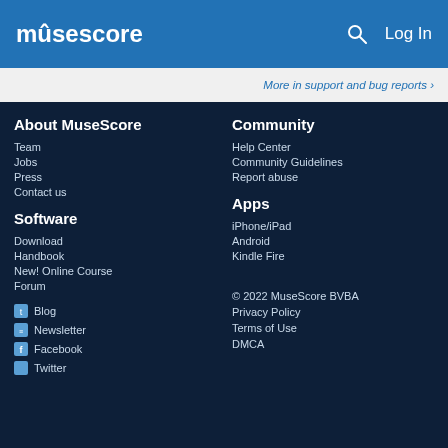musescore   Log In
More in support and bug reports ›
About MuseScore
Team
Jobs
Press
Contact us
Community
Help Center
Community Guidelines
Report abuse
Software
Download
Handbook
New! Online Course
Forum
Apps
iPhone/iPad
Android
Kindle Fire
Blog
Newsletter
Facebook
Twitter
© 2022 MuseScore BVBA
Privacy Policy
Terms of Use
DMCA